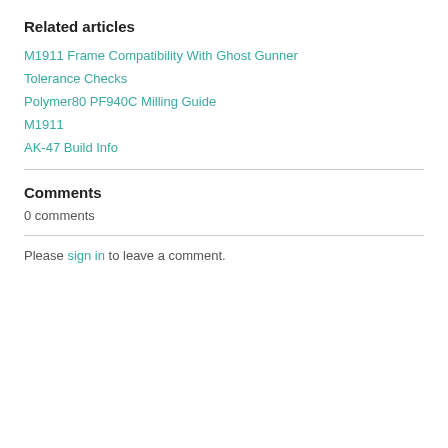Related articles
M1911 Frame Compatibility With Ghost Gunner
Tolerance Checks
Polymer80 PF940C Milling Guide
M1911
AK-47 Build Info
Comments
0 comments
Please sign in to leave a comment.